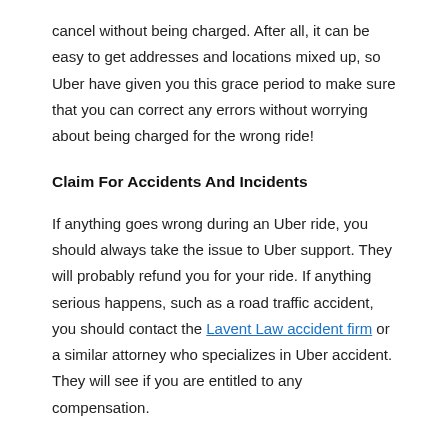cancel without being charged. After all, it can be easy to get addresses and locations mixed up, so Uber have given you this grace period to make sure that you can correct any errors without worrying about being charged for the wrong ride!
Claim For Accidents And Incidents
If anything goes wrong during an Uber ride, you should always take the issue to Uber support. They will probably refund you for your ride. If anything serious happens, such as a road traffic accident, you should contact the Lavent Law accident firm or a similar attorney who specializes in Uber accident. They will see if you are entitled to any compensation.
Look For Promo Codes
There are often Uber promo codes floating around online. Carrying out a quick Google search should uncover some for you. You just need to enter the code in the app when you book a ride, and you will save a percentage of the overall fair. There are lots of special